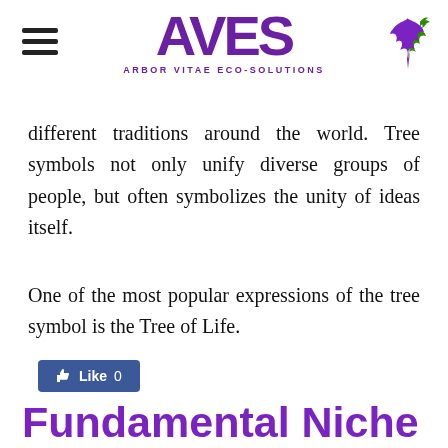AVES — ARBOR VITAE ECO-SOLUTIONS
different traditions around the world. Tree symbols not only unify diverse groups of people, but often symbolizes the unity of ideas itself.
One of the most popular expressions of the tree symbol is the Tree of Life.
[Figure (screenshot): Facebook Like button showing 0 likes]
Fundamental Niche